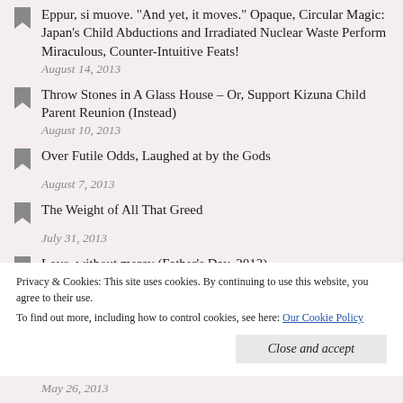Eppur, si muove. “And yet, it moves.” Opaque, Circular Magic: Japan’s Child Abductions and Irradiated Nuclear Waste Perform Miraculous, Counter-Intuitive Feats!
August 14, 2013
Throw Stones in A Glass House – Or, Support Kizuna Child Parent Reunion (Instead)
August 10, 2013
Over Futile Odds, Laughed at by the Gods
August 7, 2013
The Weight of All That Greed
July 31, 2013
Love, without mercy (Father’s Day, 2013)
Privacy & Cookies: This site uses cookies. By continuing to use this website, you agree to their use.
To find out more, including how to control cookies, see here: Our Cookie Policy
Close and accept
May 26, 2013